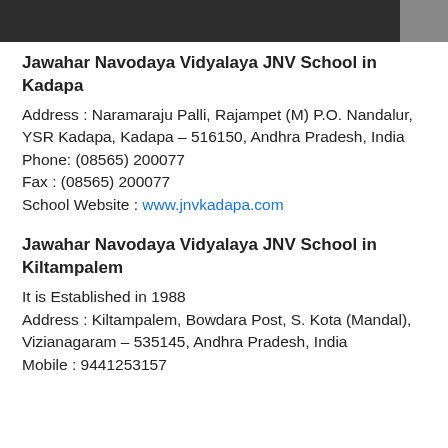Jawahar Navodaya Vidyalaya JNV School in Kadapa
Address : Naramaraju Palli, Rajampet (M) P.O. Nandalur, YSR Kadapa, Kadapa – 516150, Andhra Pradesh, India
Phone: (08565) 200077
Fax : (08565) 200077
School Website : www.jnvkadapa.com
Jawahar Navodaya Vidyalaya JNV School in Kiltampalem
It is Established in 1988
Address : Kiltampalem, Bowdara Post, S. Kota (Mandal), Vizianagaram – 535145, Andhra Pradesh, India
Mobile : 9441253157